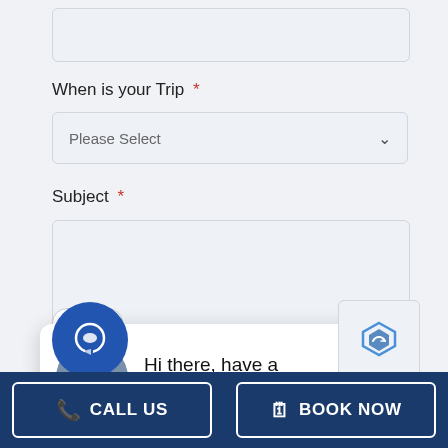[Figure (screenshot): Partially visible text input field at the top of the page]
When is your Trip *
[Figure (screenshot): Dropdown selector with 'Please Select' placeholder and chevron arrow]
Subject *
[Figure (screenshot): Empty text area input for Subject field]
close
[Figure (screenshot): Chat popup with female avatar and text: Hi there, have a question? Text us here.]
Hi there, have a question? Text us here.
[Figure (screenshot): Blue circular chat icon button at bottom left]
[Figure (screenshot): reCAPTCHA logo partially visible at bottom right]
CALL US
BOOK NOW